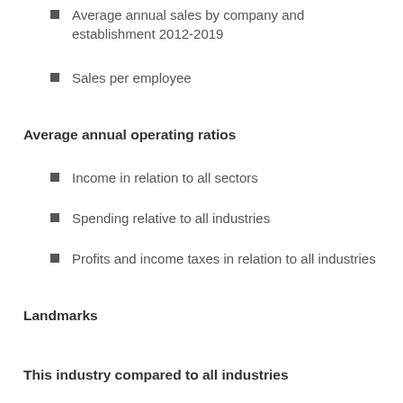Average annual sales by company and establishment 2012-2019
Sales per employee
Average annual operating ratios
Income in relation to all sectors
Spending relative to all industries
Profits and income taxes in relation to all industries
Landmarks
This industry compared to all industries
Comparison of income, profits and taxes of all industries